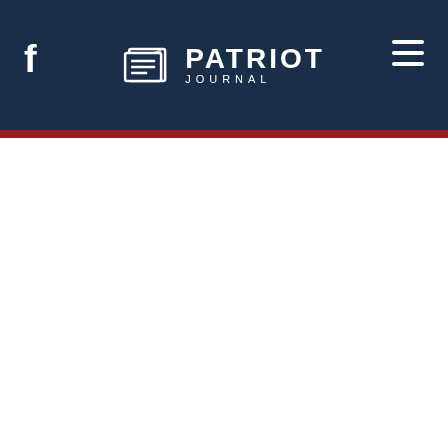Patriot Journal
[Figure (logo): Patriot Journal logo with newspaper icon, white text on dark navy background, Facebook icon on left, hamburger menu on right]